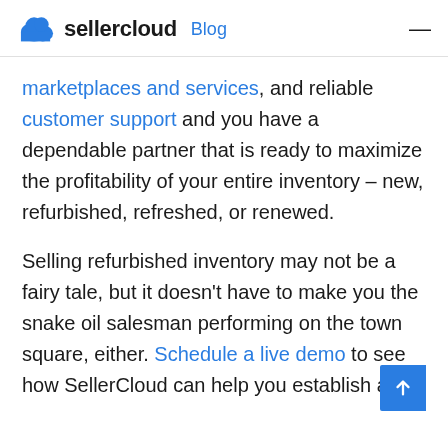sellercloud Blog
marketplaces and services, and reliable customer support and you have a dependable partner that is ready to maximize the profitability of your entire inventory – new, refurbished, refreshed, or renewed.
Selling refurbished inventory may not be a fairy tale, but it doesn't have to make you the snake oil salesman performing on the town square, either. Schedule a live demo to see how SellerCloud can help you establish and